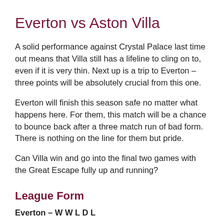Everton vs Aston Villa
A solid performance against Crystal Palace last time out means that Villa still has a lifeline to cling on to, even if it is very thin. Next up is a trip to Everton – three points will be absolutely crucial from this one.
Everton will finish this season safe no matter what happens here. For them, this match will be a chance to bounce back after a three match run of bad form. There is nothing on the line for them but pride.
Can Villa win and go into the final two games with the Great Escape fully up and running?
League Form
Everton – W W L D L